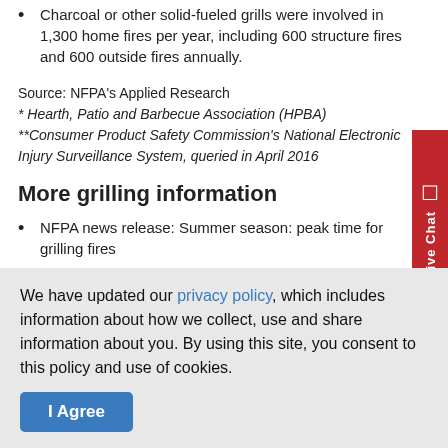Charcoal or other solid-fueled grills were involved in 1,300 home fires per year, including 600 structure fires and 600 outside fires annually.
Source: NFPA's Applied Research
* Hearth, Patio and Barbecue Association (HPBA)
** Consumer Product Safety Commission's National Electronic Injury Surveillance System, queried in April 2016
More grilling information
NFPA news release: Summer season: peak time for grilling fires
Check out our sample social media posts and cards on grilling safety.
See "Home Grill Fires Tables" report for more details about
We have updated our privacy policy, which includes information about how we collect, use and share information about you. By using this site, you consent to this policy and use of cookies.